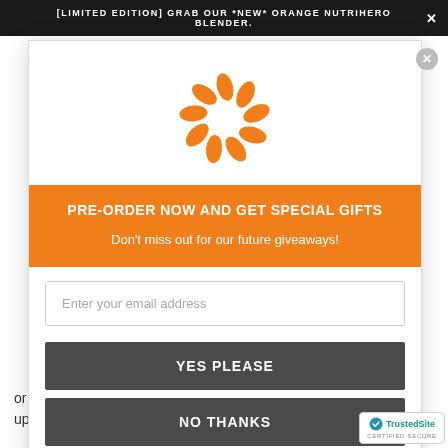[LIMITED EDITION] GRAB OUR *NEW* ORANGE NUTRIHERO BLENDER.
[Figure (logo): Orange leaf/petal circular logo mark for NutriHero brand]
PRE-ORDER NOW AND GET SPECIAL GIFTS
Don't miss out for our future giveaways!
Enter your email address
YES PLEASE
NO THANKS
or replace any part of these Terms of Service by pu... updates and changes to our website. It is your res...
[Figure (logo): TrustedSite Certified Secure badge]